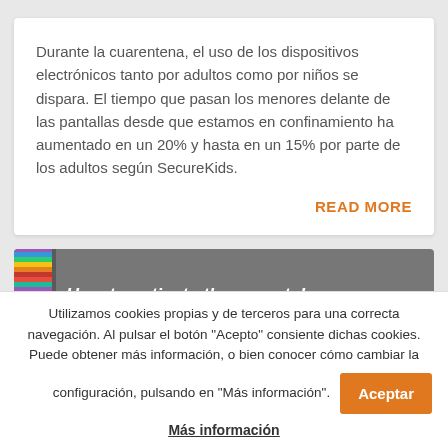Durante la cuarentena, el uso de los dispositivos electrónicos tanto por adultos como por niños se dispara. El tiempo que pasan los menores delante de las pantallas desde que estamos en confinamiento ha aumentado en un 20% y hasta en un 15% por parte de los adultos según SecureKids.
READ MORE
[Figure (screenshot): Partial image showing colorful stripe and gray header with text 'How to activate the parental']
Utilizamos cookies propias y de terceros para una correcta navegación. Al pulsar el botón "Acepto" consiente dichas cookies. Puede obtener más información, o bien conocer cómo cambiar la configuración, pulsando en "Más información".
Aceptar
Más información